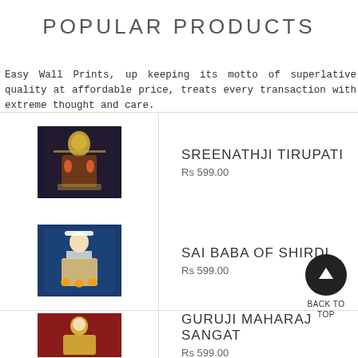POPULAR PRODUCTS
Easy Wall Prints, up keeping its motto of superlative quality at affordable price, treats every transaction with extreme thought and care.
SREENATHJI TIRUPATI
Rs 599.00
SAI BABA OF SHIRDI
Rs 599.00
GURUJI MAHARAJ SANGAT
Rs 599.00
BACK TO TOP